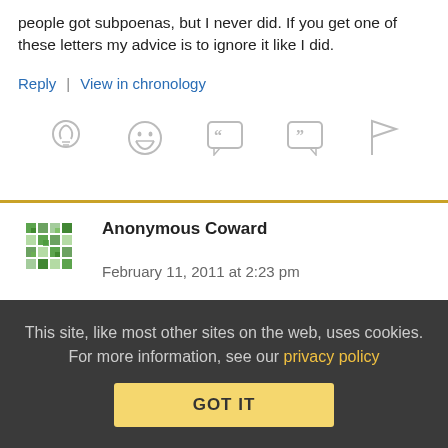people got subpoenas, but I never did. If you get one of these letters my advice is to ignore it like I did.
Reply | View in chronology
[Figure (other): Row of comment action icons: lightbulb, grinning emoji, open quote bubble, close quote bubble, flag]
Anonymous Coward   February 11, 2011 at 2:23 pm
Ignore it. They don't have your info until you give it to them. Just lay off downloading for awhile, especially from the type of media that caused you to get the letter. I got a letter in December and
This site, like most other sites on the web, uses cookies. For more information, see our privacy policy
GOT IT